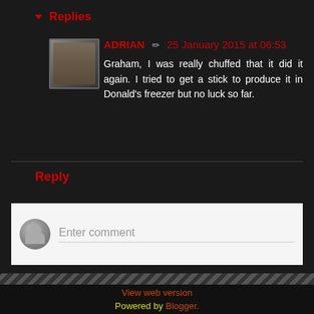▼ Replies
ADRIAN ✏ 25 January 2015 at 06:53
Graham, I was really chuffed that it did it again. I tried to get a stick to produce it in Donald's freezer but no luck so far.
Reply
Enter comment
Home
View web version
Powered by Blogger.